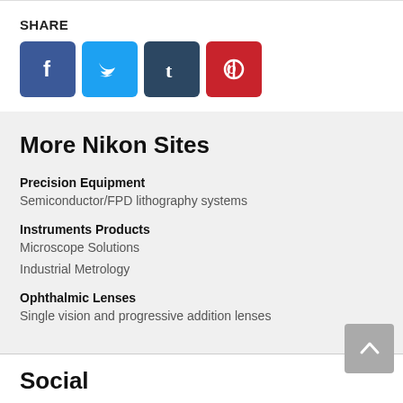SHARE
[Figure (illustration): Four social media icon buttons: Facebook (blue), Twitter (light blue), Tumblr (dark blue-gray), Pinterest (red)]
More Nikon Sites
Precision Equipment
Semiconductor/FPD lithography systems
Instruments Products
Microscope Solutions
Industrial Metrology
Ophthalmic Lenses
Single vision and progressive addition lenses
Social